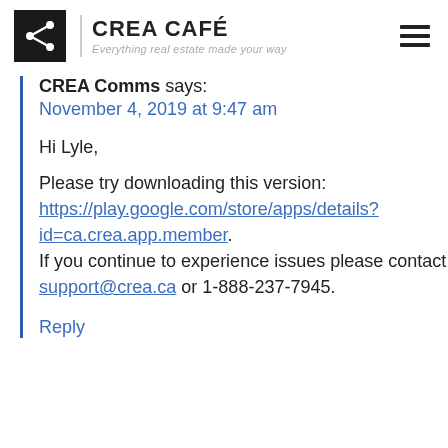CREA CAFÉ — Everything real estate made your way
CREA Comms says:
November 4, 2019 at 9:47 am
Hi Lyle,
Please try downloading this version: https://play.google.com/store/apps/details?id=ca.crea.app.member. If you continue to experience issues please contact support@crea.ca or 1-888-237-7945.
Reply